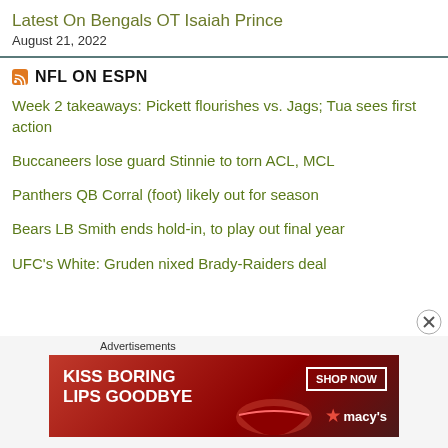Latest On Bengals OT Isaiah Prince
August 21, 2022
NFL ON ESPN
Week 2 takeaways: Pickett flourishes vs. Jags; Tua sees first action
Buccaneers lose guard Stinnie to torn ACL, MCL
Panthers QB Corral (foot) likely out for season
Bears LB Smith ends hold-in, to play out final year
UFC's White: Gruden nixed Brady-Raiders deal
Advertisements
[Figure (photo): Macy's lipstick advertisement banner: 'KISS BORING LIPS GOODBYE' with SHOP NOW button and Macy's logo, dark red background with woman's lips photo]